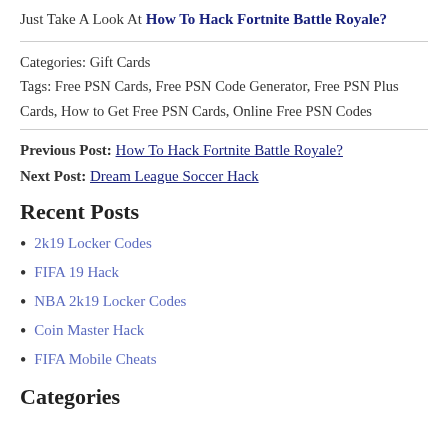Just Take A Look At How To Hack Fortnite Battle Royale?
Categories: Gift Cards
Tags: Free PSN Cards, Free PSN Code Generator, Free PSN Plus Cards, How to Get Free PSN Cards, Online Free PSN Codes
Previous Post: How To Hack Fortnite Battle Royale?
Next Post: Dream League Soccer Hack
Recent Posts
2k19 Locker Codes
FIFA 19 Hack
NBA 2k19 Locker Codes
Coin Master Hack
FIFA Mobile Cheats
Categories